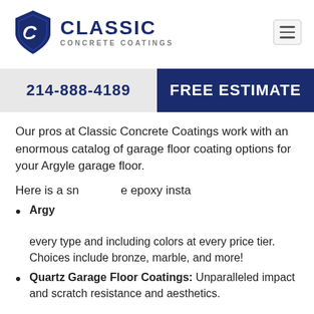[Figure (logo): Classic Concrete Coatings logo with blue shield and stylized C, company name in navy blue]
214-888-4189
FREE ESTIMATE
Our pros at Classic Concrete Coatings work with an enormous catalog of garage floor coating options for your Argyle garage floor.
Here is a snapshot of our epoxy insta[llation services]:
Argyle [Epoxy Flake Coating]: every type and including colors at every price tier. Choices include bronze, marble, and more!
Quartz Garage Floor Coatings: Unparalleled impact and scratch resistance and aesthetics.
[Figure (screenshot): Chat bubble overlay: Hi! Like to schedule a Free Quote? Text us now.]